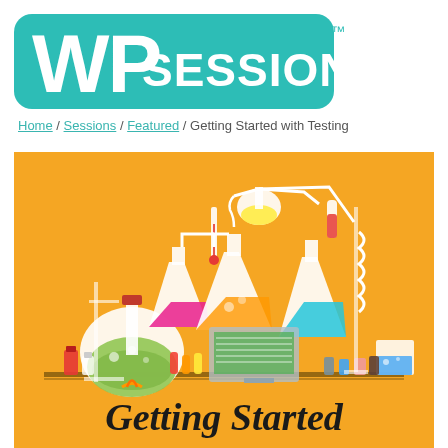[Figure (logo): WPSessions logo with teal rounded rectangle background and white text]
Home / Sessions / Featured / Getting Started with Testing
[Figure (illustration): Colorful flat-design illustration of a chemistry laboratory setup with flasks, beakers, tubes, and equipment on a golden/orange background, with text 'Getting Started' at the bottom]